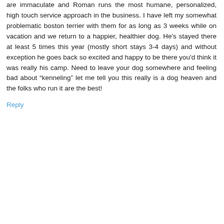are immaculate and Roman runs the most humane, personalized, high touch service approach in the business. I have left my somewhat problematic boston terrier with them for as long as 3 weeks while on vacation and we return to a happier, healthier dog. He's stayed there at least 5 times this year (mostly short stays 3-4 days) and without exception he goes back so excited and happy to be there you'd think it was really his camp. Need to leave your dog somewhere and feeling bad about "kenneling" let me tell you this really is a dog heaven and the folks who run it are the best!
Reply